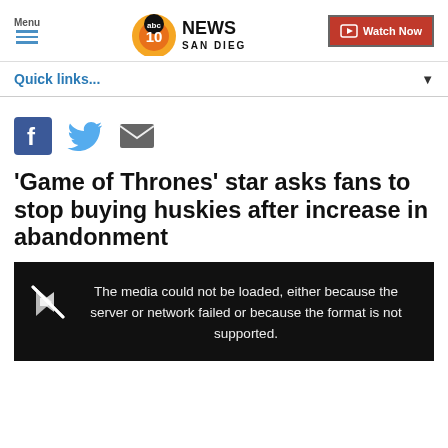Menu | abc 10 NEWS SAN DIEGO | Watch Now
Quick links...
[Figure (other): Social share icons: Facebook, Twitter, Email]
'Game of Thrones' star asks fans to stop buying huskies after increase in abandonment
[Figure (other): Video player showing error: The media could not be loaded, either because the server or network failed or because the format is not supported.]